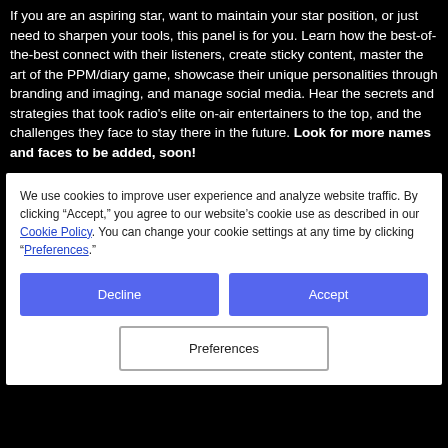If you are an aspiring star, want to maintain your star position, or just need to sharpen your tools, this panel is for you. Learn how the best-of-the-best connect with their listeners, create sticky content, master the art of the PPM/diary game, showcase their unique personalities through branding and imaging, and manage social media. Hear the secrets and strategies that took radio's elite on-air entertainers to the top, and the challenges they face to stay there in the future. Look for more names and faces to be added, soon!
We use cookies to improve user experience and analyze website traffic. By clicking "Accept," you agree to our website's cookie use as described in our Cookie Policy. You can change your cookie settings at any time by clicking "Preferences."